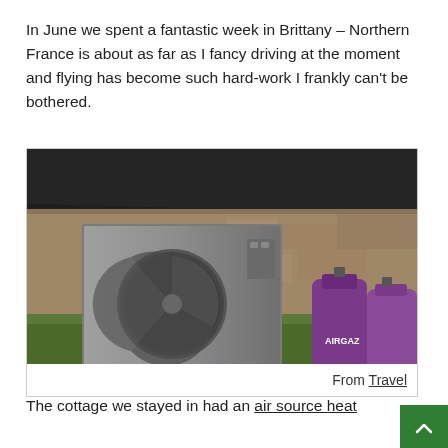In June we spent a fantastic week in Brittany – Northern France is about as far as I fancy driving at the moment and flying has become such hard-work I frankly can't be bothered.
[Figure (photo): An air source heat pump unit mounted outside a stone building with a dark roof. Purple AIRGAZ gas cylinders visible to the right.]
From Travel
The cottage we stayed in had an air source heat